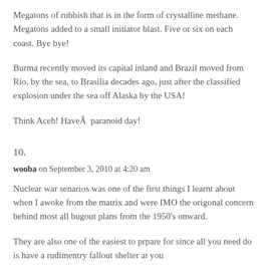Megatons of rubbish that is in the form of crystalline methane. Megatons added to a small initiator blast. Five or six on each coast. Bye bye!
Burma recently moved its capital inland and Brazil moved from Rio, by the sea, to Brasilia decades ago, just after the classified explosion under the sea off Alaska by the USA!
Think Aceh! HaveÂ  paranoid day!
10.
wooba on September 3, 2010 at 4:20 am
Nuclear war senarios was one of the first things I learnt about when I awoke from the matrix and were IMO the origonal concern behind most all bugout plans from the 1950's onward.
They are also one of the easiest to prpare for since all you need do is have a rudimentry fallout shelter at you